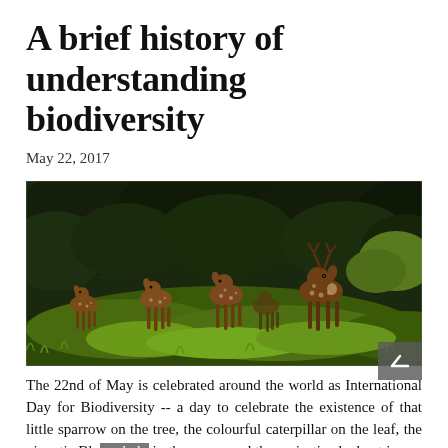A brief history of understanding biodiversity
May 22, 2017
[Figure (photo): A group of spotted deer (chital) grazing on green grass in a forest setting at night, illuminated against dark trees and undergrowth.]
The 22nd of May is celebrated around the world as International Day for Biodiversity -- a day to celebrate the existence of that little sparrow on the tree, the colourful caterpillar on the leaf, the gigantic Blue whale in the ocean and the majestic elephant in our forests. It